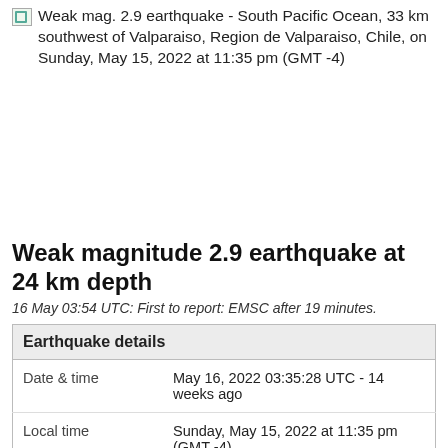Weak mag. 2.9 earthquake - South Pacific Ocean, 33 km southwest of Valparaiso, Region de Valparaiso, Chile, on Sunday, May 15, 2022 at 11:35 pm (GMT -4)
Weak magnitude 2.9 earthquake at 24 km depth
16 May 03:54 UTC: First to report: EMSC after 19 minutes.
| Earthquake details |  |
| --- | --- |
| Date & time | May 16, 2022 03:35:28 UTC - 14 weeks ago |
| Local time | Sunday, May 15, 2022 at 11:35 pm (GMT -4) |
| Status | Confirmed |
| Magnitude | 2.9 |
| Depth | 24.0 km |